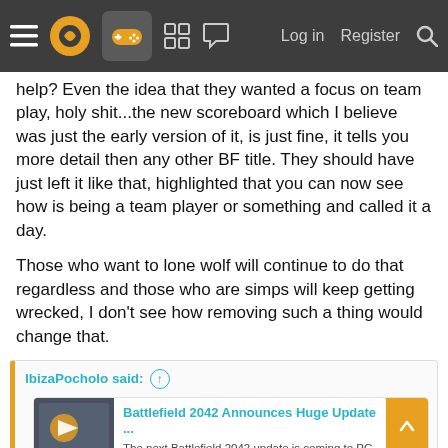Navigation bar with menu, logo, gamepad icon, grid icon, chat icon, Log in, Register, Search
help? Even the idea that they wanted a focus on team play, holy shit...the new scoreboard which I believe was just the early version of it, is just fine, it tells you more detail then any other BF title. They should have just left it like that, highlighted that you can now see how is being a team player or something and called it a day.
Those who want to lone wolf will continue to do that regardless and those who are simps will keep getting wrecked, I don't see how removing such a thing would change that.
IbizaPocholo said: ↑
Battlefield 2042 Announces Huge Update ... The next Battlefield 2042 update is coming to PC, PS4, PS5, Xbox One, Xbox Series S, and Xbox [...] comicbook.com